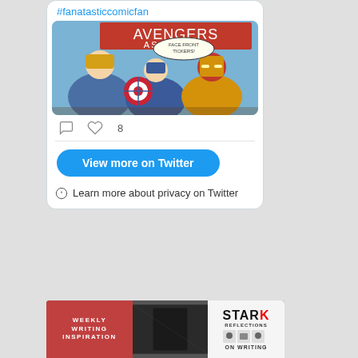#fanatasticcomicfan
[Figure (illustration): Comic book illustration showing Avengers characters: Thor, Captain America, Iron Man with text 'Avengers Assemble!']
8 likes
View more on Twitter
Learn more about privacy on Twitter
[Figure (photo): Bottom banner image showing a red panel with 'WEEKLY WRITING INSPIRATION' text, a dark center photo, and a 'Stark Reflections on Writing' logo on the right]